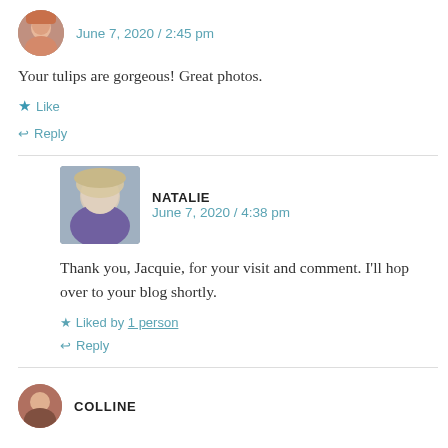June 7, 2020 / 2:45 pm
Your tulips are gorgeous! Great photos.
★ Like
↩ Reply
NATALIE
June 7, 2020 / 4:38 pm
Thank you, Jacquie, for your visit and comment. I'll hop over to your blog shortly.
★ Liked by 1 person
↩ Reply
COLLINE